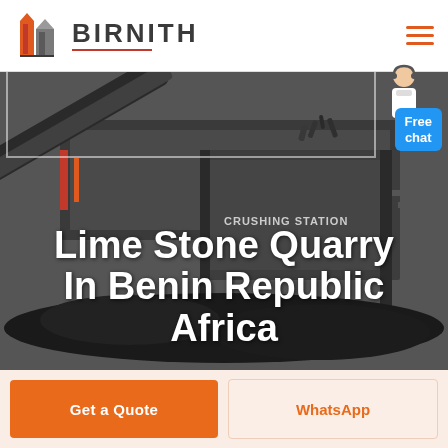[Figure (logo): Birnith company logo with orange building icon and BIRNITH text]
[Figure (photo): Industrial crushing station with heavy machinery and coal/stone material, dark dramatic background]
Lime Stone Quarry In Benin Republic Africa
Free chat
Get a Quote
WhatsApp